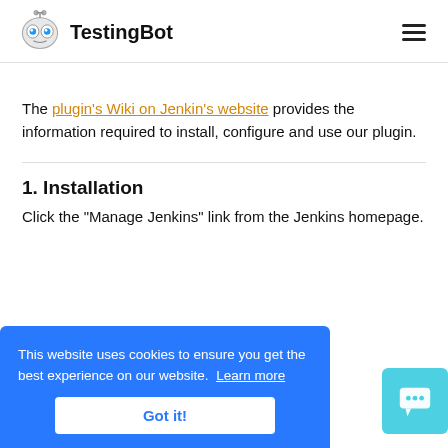TestingBot
The plugin's Wiki on Jenkin's website provides the information required to install, configure and use our plugin.
1. Installation
Click the "Manage Jenkins" link from the Jenkins homepage.
This website uses cookies to ensure you get the best experience on our website. Learn more
Got it!